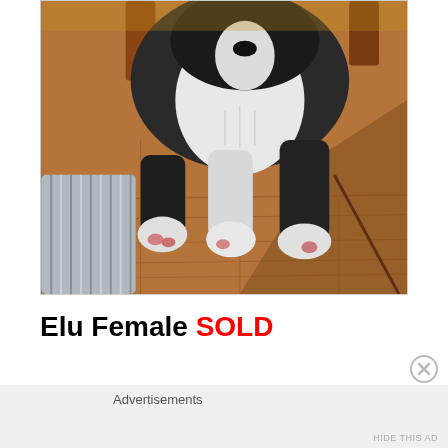[Figure (photo): A black and white puppy lying on a hardwood floor with front paws stretched forward, next to a metal corrugated container on the left. Wooden furniture legs visible in background.]
Elu Female SOLD
Advertisements
HIDE THIS AD